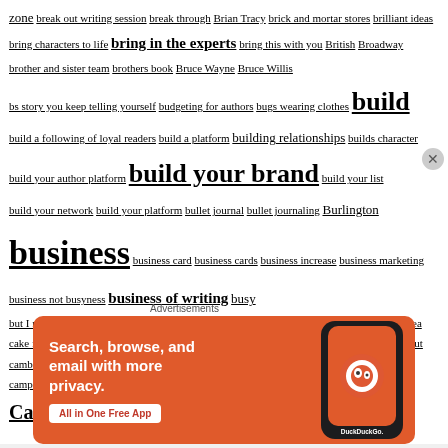zone break out writing session break through Brian Tracy brick and mortar stores brilliant ideas bring characters to life bring in the experts bring this with you British Broadway brother and sister team brothers book Bruce Wayne Bruce Willis bs story you keep telling yourself budgeting for authors bugs wearing clothes build build a following of loyal readers build a platform building relationships builds character build your author platform build your brand build your list build your network build your platform bullet journal bullet journaling Burlington business business card business cards business increase business marketing business not busyness business of writing busy but I reminded myself that writing anything is better than nothing. by month by pigeon by sea cake for snakes cakes for snakes cake snake bakery book cake snakes calendar calling call out cambodia cameron morin campaign checklists campaign creation for authors campaigns for authors can't i use any font i want can't please everyone can't stop reading Canada canada book publisher Canadian
[Figure (screenshot): DuckDuckGo advertisement banner: orange background, phone image, text 'Search, browse, and email with more privacy. All in One Free App', DuckDuckGo logo]